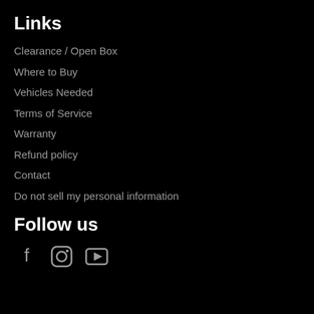Links
Clearance / Open Box
Where to Buy
Vehicles Needed
Terms of Service
Warranty
Refund policy
Contact
Do not sell my personal information
Follow us
[Figure (illustration): Social media icons: Facebook, Instagram, YouTube]